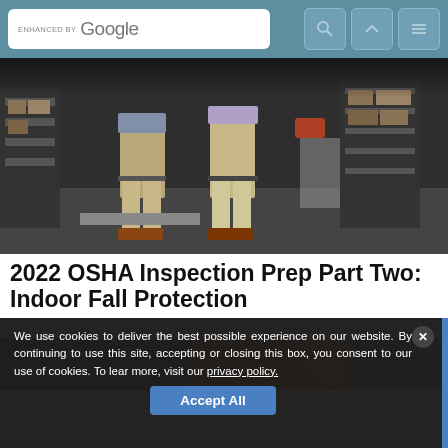ENHANCED BY Google
[Figure (photo): Two people standing in a warehouse/storage facility with shelves and boxes in the background]
2022 OSHA Inspection Prep Part Two: Indoor Fall Protection
[Figure (photo): Partial view of a worker wearing an orange hard hat]
We use cookies to deliver the best possible experience on our website. By continuing to use this site, accepting or closing this box, you consent to our use of cookies. To learn more, visit our privacy policy.
Accept All